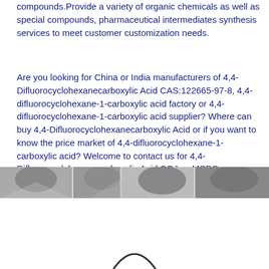compounds.Provide a variety of organic chemicals as well as special compounds, pharmaceutical intermediates synthesis services to meet customer customization needs.
Are you looking for China or India manufacturers of 4,4-Difluorocyclohexanecarboxylic Acid CAS:122665-97-8, 4,4-difluorocyclohexane-1-carboxylic acid factory or 4,4-difluorocyclohexane-1-carboxylic acid supplier? Where can buy 4,4-Difluorocyclohexanecarboxylic Acid or if you want to know the price market of 4,4-difluorocyclohexane-1-carboxylic acid? Welcome to contact us for 4,4-Difluorocyclohexanecarboxylic Acid COA or MSDS.
[Figure (photo): Black and white photograph of people, partially visible at the top of the lower section of the page. Below it appears to be a white area with a partial curved line/arc visible at the very bottom.]